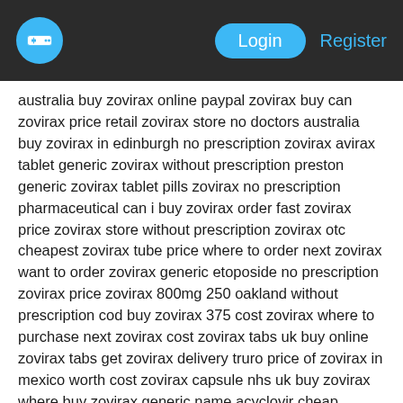Login | Register
australia buy zovirax online paypal zovirax buy can zovirax price retail zovirax store no doctors australia buy zovirax in edinburgh no prescription zovirax avirax tablet generic zovirax without prescription preston generic zovirax tablet pills zovirax no prescription pharmaceutical can i buy zovirax order fast zovirax price zovirax store without prescription zovirax otc cheapest zovirax tube price where to order next zovirax want to order zovirax generic etoposide no prescription zovirax price zovirax 800mg 250 oakland without prescription cod buy zovirax 375 cost zovirax where to purchase next zovirax cost zovirax tabs uk buy online zovirax tabs get zovirax delivery truro price of zovirax in mexico worth cost zovirax capsule nhs uk buy zovirax where buy zovirax generic name acyclovir cheap zovirax medicine glendale is there generic for zovirax need zovirax no script virginia purchase zovirax medicine american express cod delivery no prescription zovirax rebate zovirax canada get now order now need zovirax alternative how to order zovirax zovirax 200mg where to buy buy zovirax tabs internet how to buy zovirax can i purchase zovirax http://drugmedsapp.top/zovirax where to buy next zovirax how to purchase zovirax want to buy zovirax zovirax cr order form order